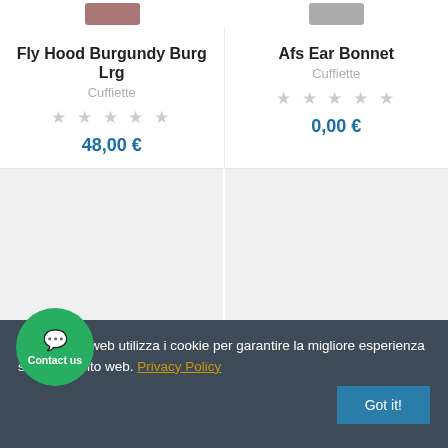Fly Hood Burgundy Burg Lrg
Cuffiette
48,00 €
Afs Ear Bonnet
Cuffiette
0,00 €
[Figure (photo): Product image placeholder left - light gray box]
[Figure (photo): Product image placeholder right - light gray box]
Questo sito web utilizza i cookie per garantire la migliore esperienza sul nostro sito web. Privacy Policy
Got it!
Contact us